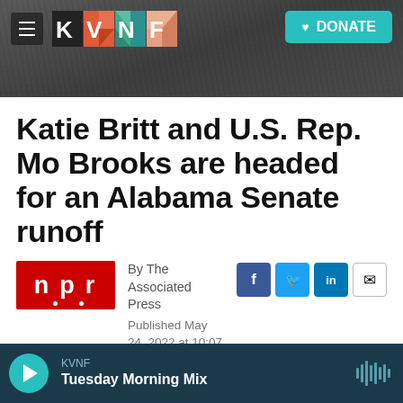[Figure (screenshot): KVNF radio station website header with logo tiles and DONATE button over dark rocky background]
Katie Britt and U.S. Rep. Mo Brooks are headed for an Alabama Senate runoff
[Figure (logo): NPR logo — red rectangle with white letters n p r]
By The Associated Press
Published May 24, 2022 at 10:07 PM MDT
[Figure (photo): Partial photo of people, cropped at bottom of visible area]
KVNF
Tuesday Morning Mix